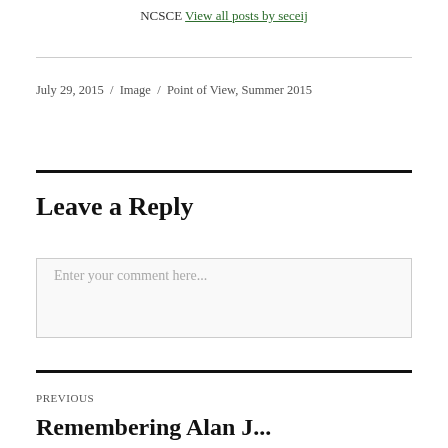NCSCE View all posts by seceij
July 29, 2015 / Image / Point of View, Summer 2015
Leave a Reply
Enter your comment here...
PREVIOUS
Remembering Alan J...